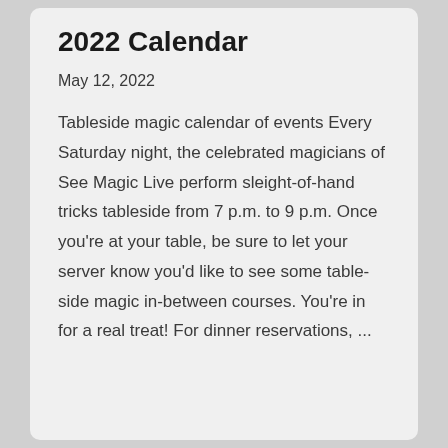2022 Calendar
May 12, 2022
Tableside magic calendar of events Every Saturday night, the celebrated magicians of See Magic Live perform sleight-of-hand tricks tableside from 7 p.m. to 9 p.m. Once you're at your table, be sure to let your server know you'd like to see some table-side magic in-between courses. You're in for a real treat! For dinner reservations, ...